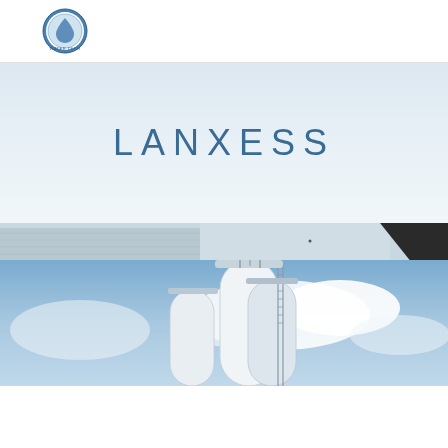[Figure (logo): WTCI circular logo with water drop icon and blue border, positioned top-left of header]
LANXESS
[Figure (photo): Industrial building exterior with grey corrugated metal wall, partial dark structural element visible at top right]
[Figure (photo): Industrial silos/tanks against a blue cloudy sky, white cylindrical tanks with ladders and pipework, view from below]